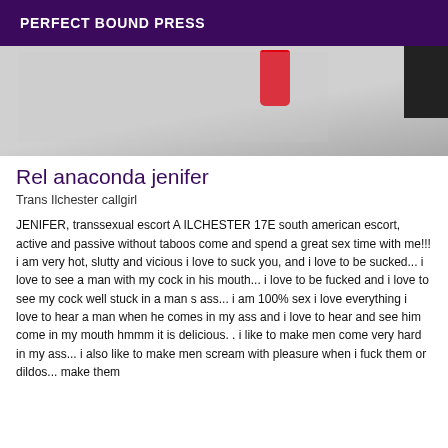PERFECT BOUND PRESS
[Figure (photo): Partial photo showing a red object against a grey/light background with a dark element on the right side]
Rel anaconda jenifer
Trans Ilchester callgirl
JENIFER, transsexual escort A ILCHESTER 17E south american escort, active and passive without taboos come and spend a great sex time with me!!! i am very hot, slutty and vicious i love to suck you, and i love to be sucked... i love to see a man with my cock in his mouth... i love to be fucked and i love to see my cock well stuck in a man s ass... i am 100% sex i love everything i love to hear a man when he comes in my ass and i love to hear and see him come in my mouth hmmm it is delicious. . i like to make men come very hard in my ass... i also like to make men scream with pleasure when i fuck them or dildos... make them